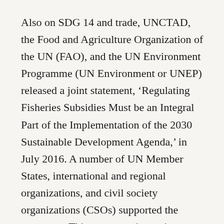Also on SDG 14 and trade, UNCTAD, the Food and Agriculture Organization of the UN (FAO), and the UN Environment Programme (UN Environment or UNEP) released a joint statement, ‘Regulating Fisheries Subsidies Must be an Integral Part of the Implementation of the 2030 Sustainable Development Agenda,’ in July 2016. A number of UN Member States, international and regional organizations, and civil society organizations (CSOs) supported the statement. This statement is serving as a baseline for defining partnerships and voluntary commitments on regulation of fish subsidies at the...